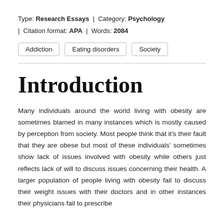Type: Research Essays | Category: Psychology | Citation format: APA | Words: 2084
Addiction
Eating disorders
Society
Introduction
Many individuals around the world living with obesity are sometimes blamed in many instances which is mostly caused by perception from society. Most people think that it's their fault that they are obese but most of these individuals' sometimes show lack of issues involved with obesity while others just reflects lack of will to discuss issues concerning their health. A larger population of people living with obesity fail to discuss their weight issues with their doctors and in other instances their physicians fail to prescribe